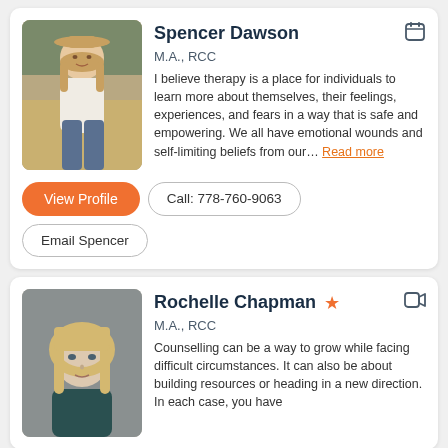[Figure (photo): Portrait photo of Spencer Dawson, a woman in a hat and white shirt in a field outdoor setting]
Spencer Dawson
M.A., RCC
I believe therapy is a place for individuals to learn more about themselves, their feelings, experiences, and fears in a way that is safe and empowering. We all have emotional wounds and self-limiting beliefs from our... Read more
View Profile
Call: 778-760-9063
Email Spencer
[Figure (photo): Portrait photo of Rochelle Chapman, a woman with blonde hair]
Rochelle Chapman
M.A., RCC
Counselling can be a way to grow while facing difficult circumstances. It can also be about building resources or heading in a new direction. In each case, you have